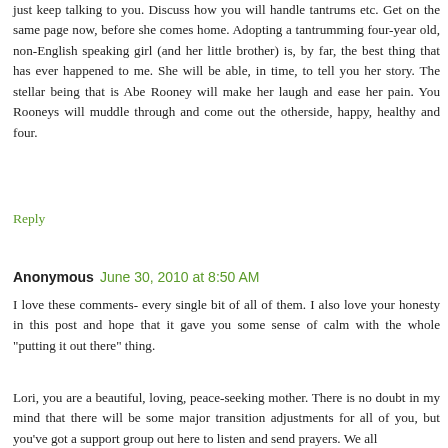just keep talking to you. Discuss how you will handle tantrums etc. Get on the same page now, before she comes home. Adopting a tantrumming four-year old, non-English speaking girl (and her little brother) is, by far, the best thing that has ever happened to me. She will be able, in time, to tell you her story. The stellar being that is Abe Rooney will make her laugh and ease her pain. You Rooneys will muddle through and come out the otherside, happy, healthy and four.
Reply
Anonymous  June 30, 2010 at 8:50 AM
I love these comments- every single bit of all of them. I also love your honesty in this post and hope that it gave you some sense of calm with the whole "putting it out there" thing.
Lori, you are a beautiful, loving, peace-seeking mother. There is no doubt in my mind that there will be some major transition adjustments for all of you, but you've got a support group out here to listen and send prayers. We all